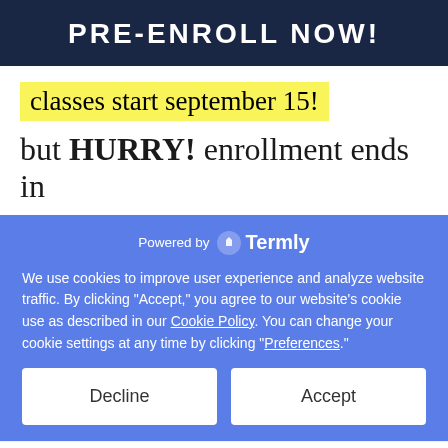PRE-ENROLL NOW!
classes start september 15!
but HURRY! enrollment ends in
Powered by Termly
We use cookies to improve user experience and analyze website traffic. By clicking “Accept,” you agree to our website’s cookie use as described in our Cookie Policy. You can change your cookie settings at any time by clicking “Preferences.”
Decline
Accept
Kristy (Jefferson City, MO) purchased light gray fabric 2 days ago ✓ ProveSource